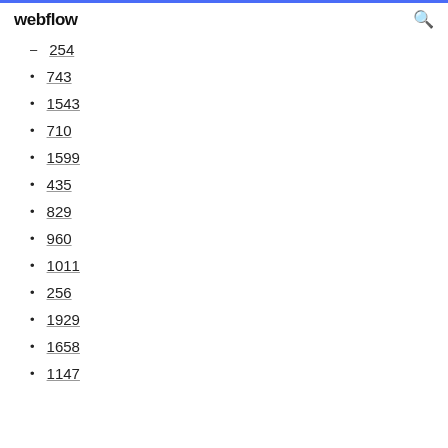webflow
254
743
1543
710
1599
435
829
960
1011
256
1929
1658
1147